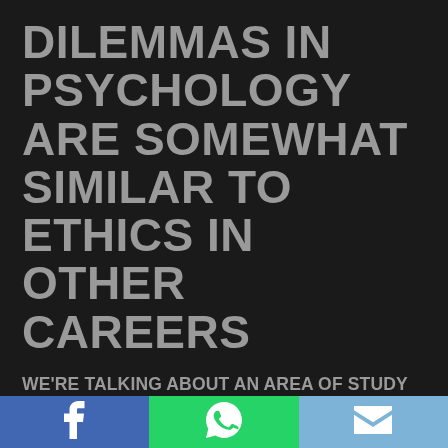DILEMMAS IN PSYCHOLOGY ARE SOMEWHAT SIMILAR TO ETHICS IN OTHER CAREERS
WE'RE TALKING ABOUT AN AREA OF STUDY WHICH FOCUSES ON PEOPLE AND THEIR BEHAVIOURS. IT'S VITAL WHENEVER YOU'RE DEALING TOGETHER WITH PEOPLE THAT YOU HAVE MORAL DUTIES TO, TO BE ETHICAL.
IN PSYCHOLOGY, YOU CAN FIND A MASTER'S DEGREE PROGRAMS AT SOME COLLEGES OF
f  [WhatsApp icon]  [Mail icon]